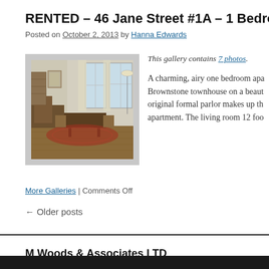RENTED – 46 Jane Street #1A – 1 Bedroom
Posted on October 2, 2013 by Hanna Edwards
[Figure (photo): Interior photo of a charming one-bedroom apartment with hardwood floors, large windows, antique furniture, and area rugs]
This gallery contains 7 photos.
A charming, airy one bedroom apartment in a Brownstone townhouse on a beautiful block. The original formal parlor makes up the main room of the apartment. The living room 12 foo…
More Galleries | Comments Off
← Older posts
M Woods & Associates LTD